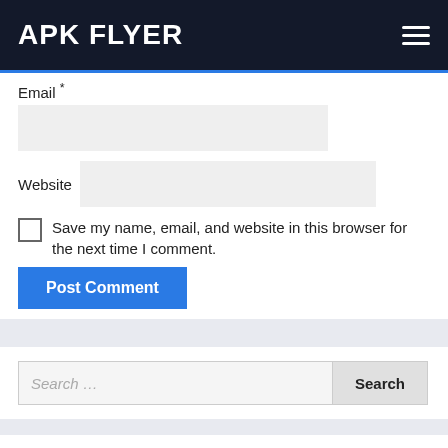APK FLYER
Email *
Website
Save my name, email, and website in this browser for the next time I comment.
Post Comment
Search …
CATEGORIES